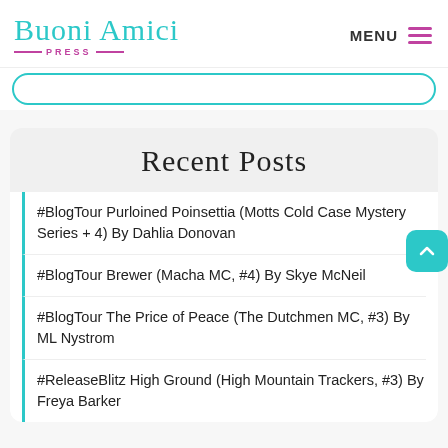Buoni Amici Press — MENU
Recent Posts
#BlogTour Purloined Poinsettia (Motts Cold Case Mystery Series + 4) By Dahlia Donovan
#BlogTour Brewer (Macha MC, #4) By Skye McNeil
#BlogTour The Price of Peace (The Dutchmen MC, #3) By ML Nystrom
#ReleaseBlitz High Ground (High Mountain Trackers, #3) By Freya Barker